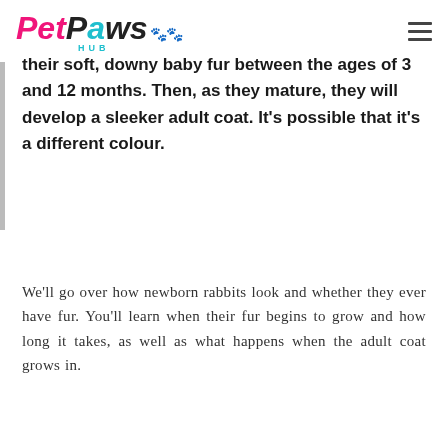Pet Paws Hub
their soft, downy baby fur between the ages of 3 and 12 months. Then, as they mature, they will develop a sleeker adult coat. It’s possible that it’s a different colour.
We’ll go over how newborn rabbits look and whether they ever have fur. You’ll learn when their fur begins to grow and how long it takes, as well as what happens when the adult coat grows in.